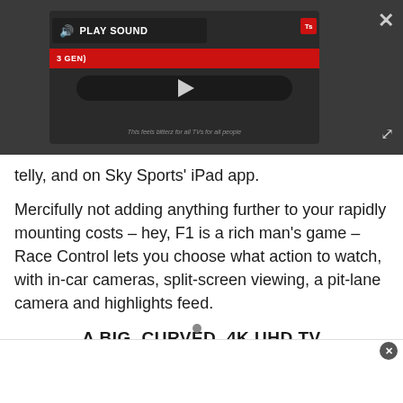[Figure (screenshot): Embedded video player with dark background, play sound button, Ts badge, red banner showing '3 GEN)', play button on track bar, and video caption text]
telly, and on Sky Sports' iPad app.
Mercifully not adding anything further to your rapidly mounting costs – hey, F1 is a rich man's game – Race Control lets you choose what action to watch, with in-car cameras, split-screen viewing, a pit-lane camera and highlights feed.
A BIG, CURVED, 4K UHD TV